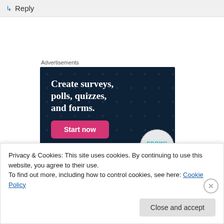↳ Reply
Advertisements
[Figure (illustration): Dark navy advertisement banner with dot pattern background. Large bold white serif text reads 'Create surveys, polls, quizzes, and forms.' A pink/magenta 'Start now' button is shown at bottom left, and a CROWD logo circle is in the bottom right corner.]
Privacy & Cookies: This site uses cookies. By continuing to use this website, you agree to their use.
To find out more, including how to control cookies, see here: Cookie Policy